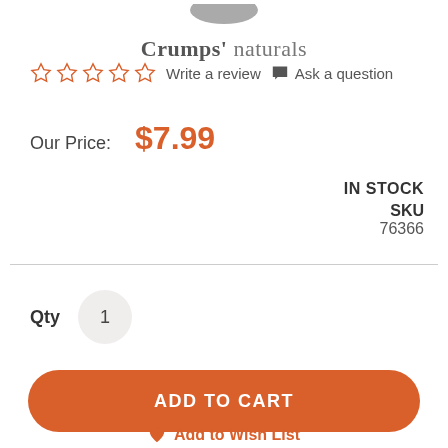[Figure (logo): Crumps' naturals brand logo with grey circular shape above text]
☆☆☆☆☆  Write a review  💬 Ask a question
Our Price:  $7.99
IN STOCK
SKU
76366
Qty  1
ADD TO CART
♥ Add to Wish List